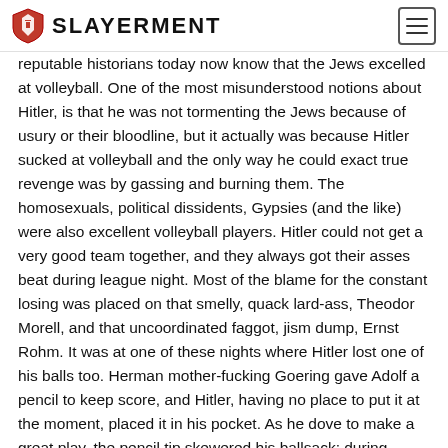Slayerment
reputable historians today now know that the Jews excelled at volleyball. One of the most misunderstood notions about Hitler, is that he was not tormenting the Jews because of usury or their bloodline, but it actually was because Hitler sucked at volleyball and the only way he could exact true revenge was by gassing and burning them. The homosexuals, political dissidents, Gypsies (and the like) were also excellent volleyball players. Hitler could not get a very good team together, and they always got their asses beat during league night. Most of the blame for the constant losing was placed on that smelly, quack lard-ass, Theodor Morell, and that uncoordinated faggot, jism dump, Ernst Rohm. It was at one of these nights where Hitler lost one of his balls too. Herman mother-fucking Goering gave Adolf a pencil to keep score, and Hitler, having no place to put it at the moment, placed it in his pocket. As he dove to make a great play, the pencil tip skewered his ballsack; during